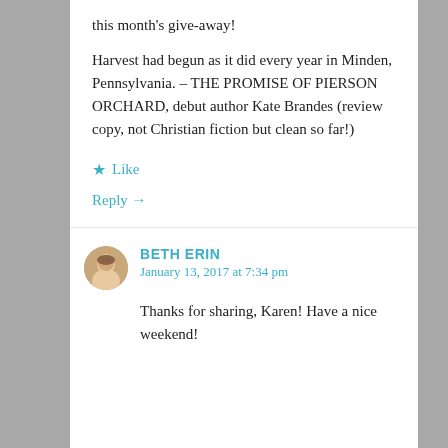this month's give-away!
Harvest had begun as it did every year in Minden, Pennsylvania. – THE PROMISE OF PIERSON ORCHARD, debut author Kate Brandes (review copy, not Christian fiction but clean so far!)
★ Like
Reply →
BETH ERIN
January 13, 2017 at 7:34 pm
Thanks for sharing, Karen! Have a nice weekend!